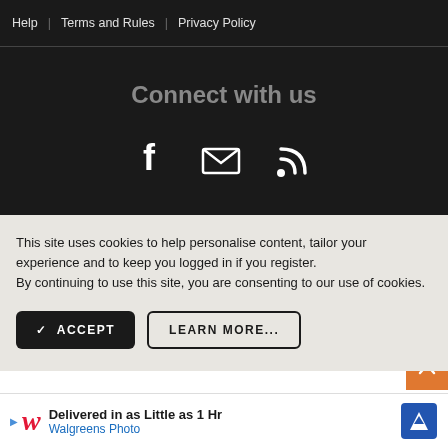Help | Terms and Rules | Privacy Policy
Connect with us
[Figure (illustration): Social media icons: Facebook (f), Email (envelope), RSS feed]
This site uses cookies to help personalise content, tailor your experience and to keep you logged in if you register.
By continuing to use this site, you are consenting to our use of cookies.
✓ ACCEPT   LEARN MORE...
AN ELITE CAFEMEDIA LIFESTYLE PUBLISHER
[Figure (illustration): Walgreens Photo advertisement: Delivered in as Little as 1 Hr, Walgreens Photo]